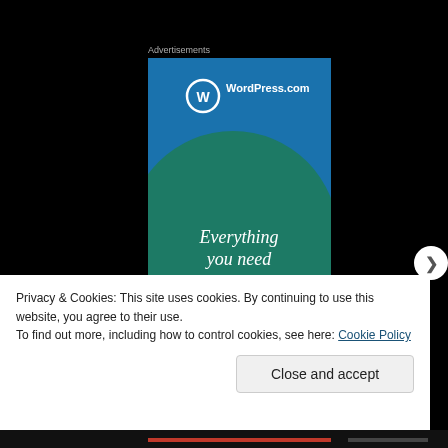Advertisements
[Figure (illustration): WordPress.com advertisement banner with blue background, teal/green circle in the center, WordPress logo at top, and text 'Everything you need']
Privacy & Cookies: This site uses cookies. By continuing to use this website, you agree to their use.
To find out more, including how to control cookies, see here: Cookie Policy
Close and accept